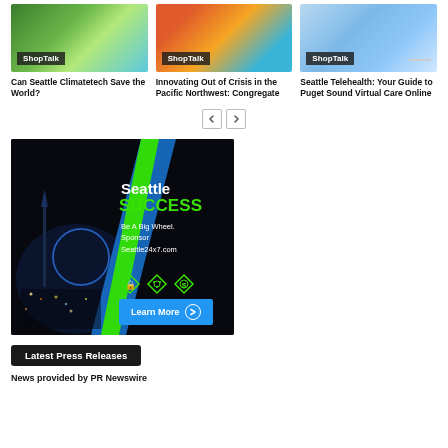[Figure (photo): Card image 1: Green earth globe with trees and blue sky background]
ShopTalk
Can Seattle Climatetech Save the World?
[Figure (photo): Card image 2: Colorful illustration of hands and digital elements]
ShopTalk
Innovating Out of Crisis in the Pacific Northwest: Congregate
[Figure (photo): Card image 3: Doctor with stethoscope and digital healthcare icons on laptop screen]
ShopTalk
Seattle Telehealth: Your Guide to Puget Sound Virtual Care Online
[Figure (infographic): Seattle Success advertisement banner. Dark background with Space Needle and Ferris Wheel cityscape. Green diagonal stripe design. Text: Seattle SUCCESS - Be A Big Wheel. Sponsor Seattle24x7.com. Learn More button in blue.]
Latest Press Releases
News provided by PR Newswire